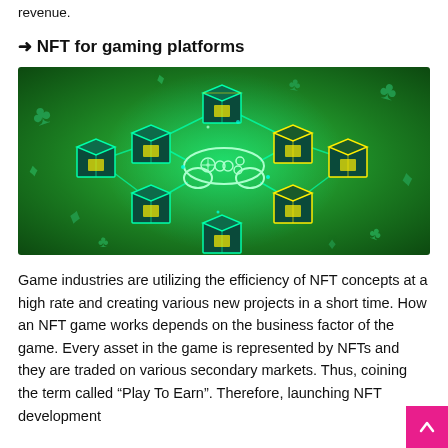revenue.
➜ NFT for gaming platforms
[Figure (illustration): Digital illustration on a green background showing interconnected glowing neon cubes (NFT blocks) arranged in a network pattern with a game controller in the center. Playing card suit symbols (clubs, diamonds) are visible in the background.]
Game industries are utilizing the efficiency of NFT concepts at a high rate and creating various new projects in a short time. How an NFT game works depends on the business factor of the game. Every asset in the game is represented by NFTs and they are traded on various secondary markets. Thus, coining the term called “Play To Earn”. Therefore, launching NFT development